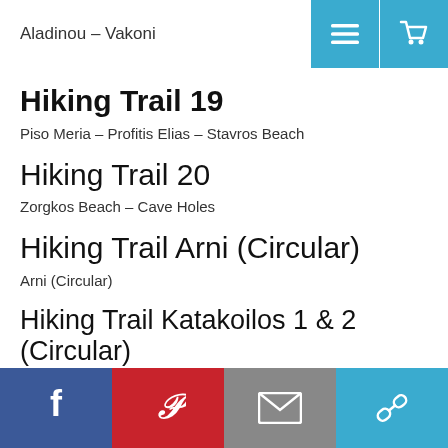Aladinou – Vakoni
Hiking Trail 19
Piso Meria – Profitis Elias – Stavros Beach
Hiking Trail 20
Zorgkos Beach – Cave Holes
Hiking Trail Arni (Circular)
Arni (Circular)
Hiking Trail Katakoilos 1 & 2 (Circular)
Social share bar: Facebook, Pinterest, Email, Link